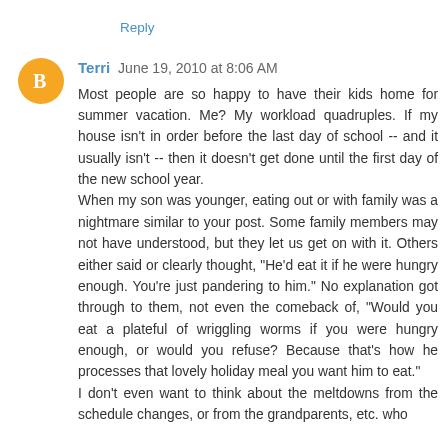Reply
Terri June 19, 2010 at 8:06 AM
Most people are so happy to have their kids home for summer vacation. Me? My workload quadruples. If my house isn't in order before the last day of school -- and it usually isn't -- then it doesn't get done until the first day of the new school year.
When my son was younger, eating out or with family was a nightmare similar to your post. Some family members may not have understood, but they let us get on with it. Others either said or clearly thought, "He'd eat it if he were hungry enough. You're just pandering to him." No explanation got through to them, not even the comeback of, "Would you eat a plateful of wriggling worms if you were hungry enough, or would you refuse? Because that's how he processes that lovely holiday meal you want him to eat."
I don't even want to think about the meltdowns from the schedule changes, or from the grandparents, etc. who